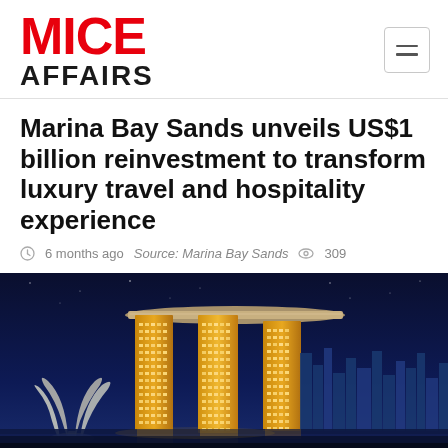MICE AFFAIRS
Marina Bay Sands unveils US$1 billion reinvestment to transform luxury travel and hospitality experience
6 months ago   Source: Marina Bay Sands   309
[Figure (photo): Nighttime photograph of Marina Bay Sands hotel in Singapore, showing three illuminated towers with the iconic skybridge/infinity pool structure on top, against a deep blue night sky, with the ArtScience Museum lotus-shaped structure visible in the foreground left.]